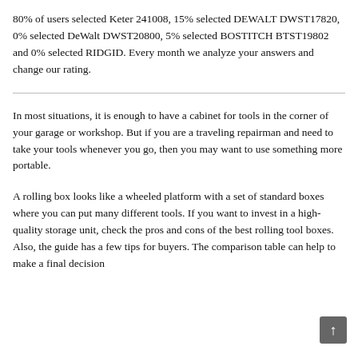80% of users selected Keter 241008, 15% selected DEWALT DWST17820, 0% selected DeWalt DWST20800, 5% selected BOSTITCH BTST19802 and 0% selected RIDGID. Every month we analyze your answers and change our rating.
In most situations, it is enough to have a cabinet for tools in the corner of your garage or workshop. But if you are a traveling repairman and need to take your tools whenever you go, then you may want to use something more portable.
A rolling box looks like a wheeled platform with a set of standard boxes where you can put many different tools. If you want to invest in a high-quality storage unit, check the pros and cons of the best rolling tool boxes. Also, the guide has a few tips for buyers. The comparison table can help to make a final decision.